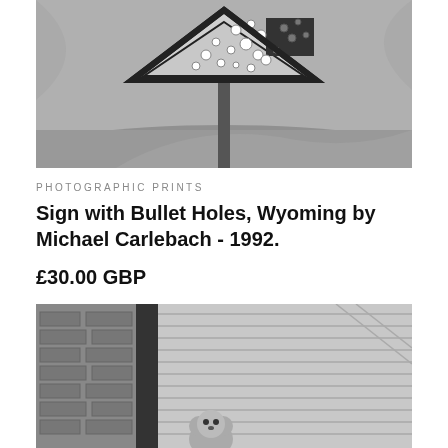[Figure (photo): Black and white photograph of a triangular yield road sign riddled with bullet holes, set against a rural landscape background]
PHOTOGRAPHIC PRINTS
Sign with Bullet Holes, Wyoming by Michael Carlebach - 1992.
£30.00 GBP
[Figure (photo): Black and white photograph showing a brick wall on the left and what appears to be a stuffed animal or toy at the bottom, with architectural elements including a slatted ceiling or awning]